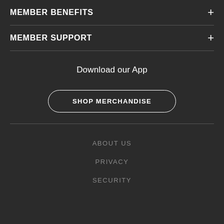MEMBER BENEFITS
MEMBER SUPPORT
Download our App
SHOP MERCHANDISE
ABOUT US
PRIVACY
SECURITY